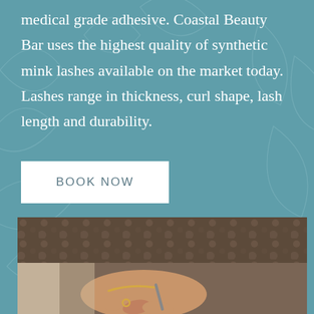medical grade adhesive. Coastal Beauty Bar uses the highest quality of synthetic mink lashes available on the market today. Lashes range in thickness, curl shape, lash length and durability.
BOOK NOW
[Figure (photo): Close-up photo of a person's hand holding a pen or tool, wearing gold rings and a bracelet, with a patterned fabric garment visible in the background.]